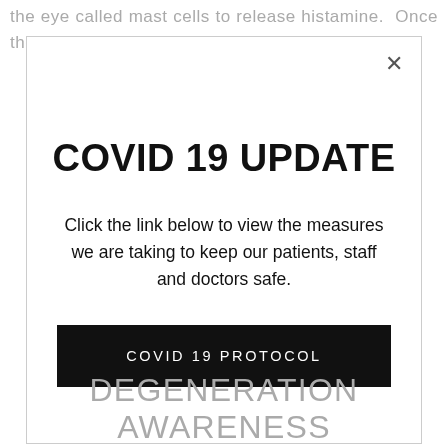the eye called mast cells to release histamine. Once the histamine is released your eyes develop the
[Figure (screenshot): Modal popup dialog with COVID 19 UPDATE heading, descriptive text, a close (×) button, and a black COVID 19 PROTOCOL button]
DEGENERATION AWARENESS